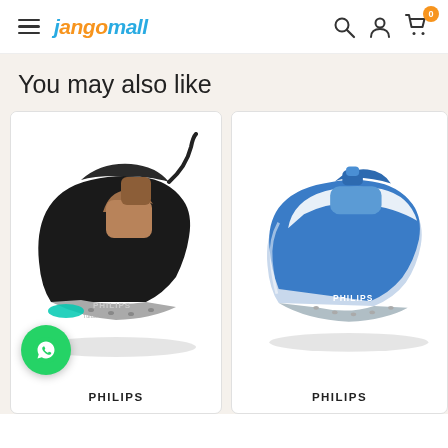jangomall — navigation header with hamburger menu, logo, search, user, and cart icons
You may also like
[Figure (photo): Black and bronze Philips steam iron product image on white background]
PHILIPS
[Figure (photo): Blue and white Philips steam iron product image on white background]
PHILIPS